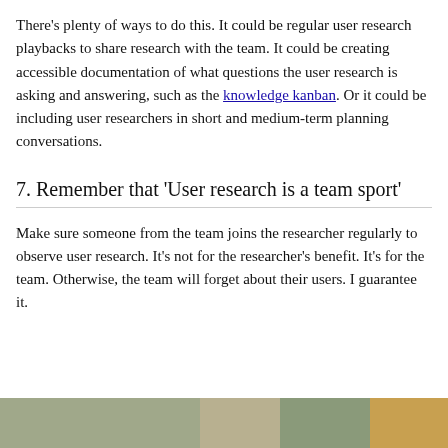There's plenty of ways to do this. It could be regular user research playbacks to share research with the team. It could be creating accessible documentation of what questions the user research is asking and answering, such as the knowledge kanban. Or it could be including user researchers in short and medium-term planning conversations.
7. Remember that 'User research is a team sport'
Make sure someone from the team joins the researcher regularly to observe user research. It's not for the researcher's benefit. It's for the team. Otherwise, the team will forget about their users. I guarantee it.
[Figure (photo): Partial photo visible at the bottom of the page, showing a warm-toned outdoor or research session image]